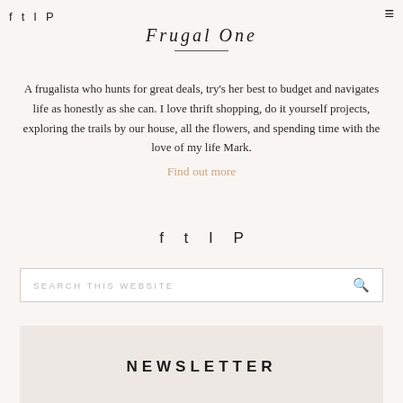f  twitter  instagram  pinterest  ≡
Frugal One
A frugalista who hunts for great deals, try's her best to budget and navigates life as honestly as she can. I love thrift shopping, do it yourself projects, exploring the trails by our house, all the flowers, and spending time with the love of my life Mark.
Find out more
f  twitter  instagram  pinterest
SEARCH THIS WEBSITE
NEWSLETTER